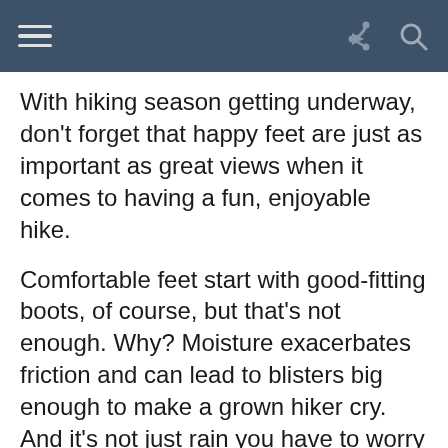With hiking season getting underway, don't forget that happy feet are just as important as great views when it comes to having a fun, enjoyable hike.
Comfortable feet start with good-fitting boots, of course, but that's not enough. Why? Moisture exacerbates friction and can lead to blisters big enough to make a grown hiker cry. And it's not just rain you have to worry about. Sweat can soak your feet even on a sunny day. And since sweat glands are most concentrated on your feet, they can produce more than a cup of sweat on a daylong hike. Use these tips to keep your feet dry.